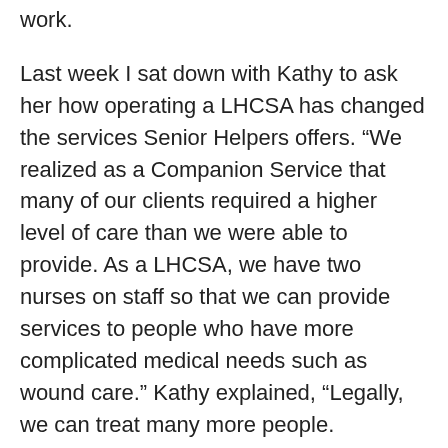work.
Last week I sat down with Kathy to ask her how operating a LHCSA has changed the services Senior Helpers offers. “We realized as a Companion Service that many of our clients required a higher level of care than we were able to provide. As a LHCSA, we have two nurses on staff so that we can provide services to people who have more complicated medical needs such as wound care.” Kathy explained, “Legally, we can treat many more people.
I have referred clients to Companion Agencies because they told me they just needed a little help. Sometimes I find that their needs really include medical services, such as actual help in the toilet, not just supervision to get to the bathroom. “People call our Agency and the first thing they want to know is what it is going to cost. That’s the wrong